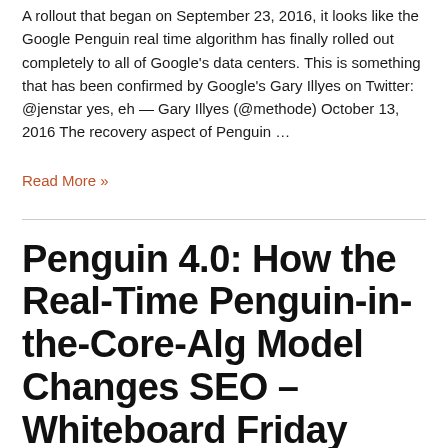A rollout that began on September 23, 2016, it looks like the Google Penguin real time algorithm has finally rolled out completely to all of Google's data centers. This is something that has been confirmed by Google's Gary Illyes on Twitter:  @jenstar yes, eh — Gary Illyes (@methode) October 13, 2016 The recovery aspect of Penguin …
Read More »
Penguin 4.0: How the Real-Time Penguin-in-the-Core-Alg Model Changes SEO – Whiteboard Friday
Leave a Comment / Google, Penguin, Penguin Update / By scottdavenport